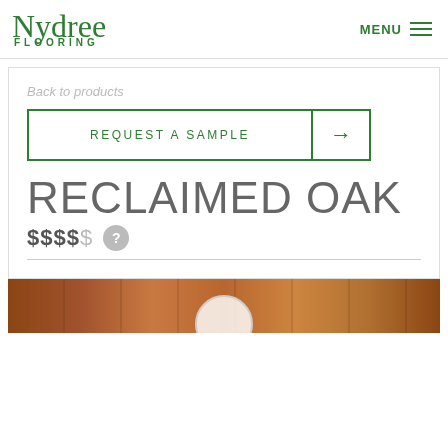Nydree Flooring | MENU
Back to products
REQUEST A SAMPLE →
RECLAIMED OAK
$$$$$ ?
[Figure (photo): Wood flooring plank sample image showing reclaimed oak texture in warm brown tones]